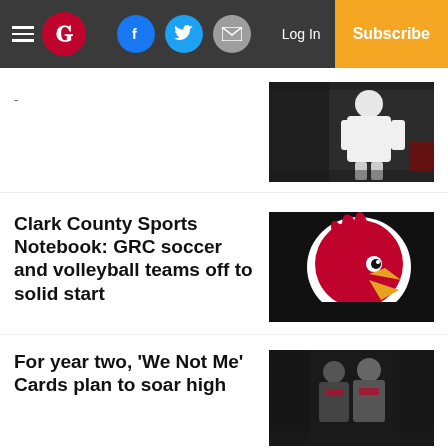W — Log In | Subscribe (navigation bar with social icons)
[Figure (photo): Photo of a person in white jersey/shirt on a dark background]
-
Clark County Sports Notebook: GRC soccer and volleyball teams off to solid start
[Figure (logo): GRC Cardinals logo — red cardinal bird on black background]
For year two, 'We Not Me' Cards plan to soar high
[Figure (photo): Photo of coaches/players in dark setting with team jerseys]